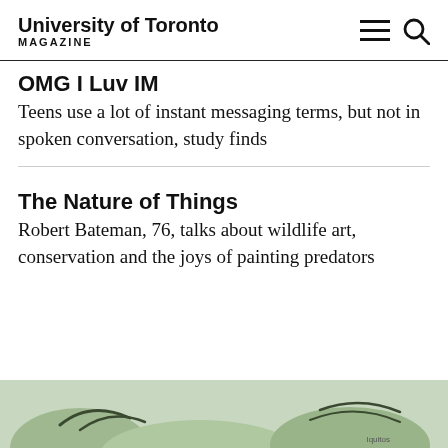University of Toronto MAGAZINE
OMG I Luv IM
Teens use a lot of instant messaging terms, but not in spoken conversation, study finds
The Nature of Things
Robert Bateman, 76, talks about wildlife art, conservation and the joys of painting predators
[Figure (photo): Partial image of wildlife art or nature photograph at the bottom of the page, partially cropped]